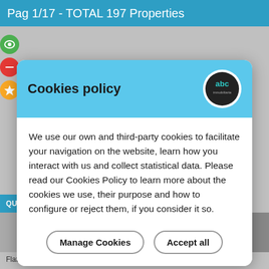Pag 1/17 - TOTAL 197 Properties
[Figure (screenshot): Background website content showing property listing page with sidebar icons (eye, minus, star), a blue QUESTION? bar, property images, and a footer text: Flat - Málaga (Camino de Suárez) Built Surface 55m²]
Cookies policy
[Figure (logo): abc inmobiliaria logo — circular dark background with 'abc inmobiliaria' text in teal/white]
We use our own and third-party cookies to facilitate your navigation on the website, learn how you interact with us and collect statistical data. Please read our Cookies Policy to learn more about the cookies we use, their purpose and how to configure or reject them, if you consider it so.
Manage Cookies
Accept all